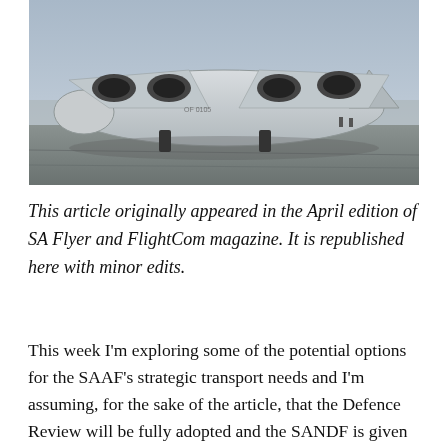[Figure (photo): A large military transport aircraft (C-17 Globemaster III) photographed on a tarmac at an airshow. The aircraft's underbelly and four jet engines are prominently visible. Several people and other aircraft are visible in the background.]
This article originally appeared in the April edition of SA Flyer and FlightCom magazine. It is republished here with minor edits.
This week I'm exploring some of the potential options for the SAAF's strategic transport needs and I'm assuming, for the sake of the article, that the Defence Review will be fully adopted and the SANDF is given the